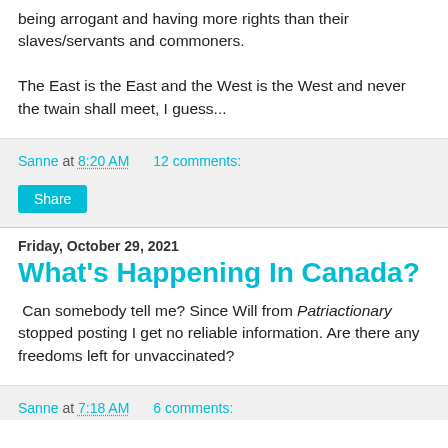being arrogant and having more rights than their slaves/servants and commoners.

The East is the East and the West is the West and never the twain shall meet, I guess...
Sanne at 8:20 AM    12 comments:
Share
Friday, October 29, 2021
What's Happening In Canada?
Can somebody tell me? Since Will from Patriactionary stopped posting I get no reliable information. Are there any freedoms left for unvaccinated?
Sanne at 7:18 AM    6 comments: